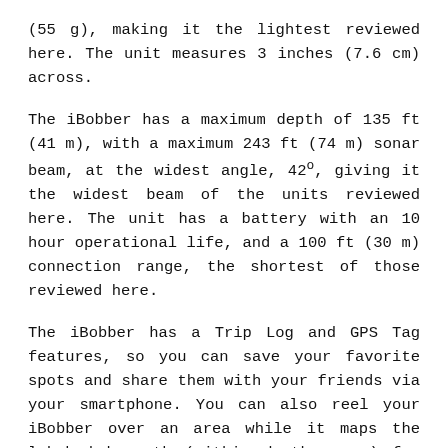(55 g), making it the lightest reviewed here. The unit measures 3 inches (7.6 cm) across.
The iBobber has a maximum depth of 135 ft (41 m), with a maximum 243 ft (74 m) sonar beam, at the widest angle, 42°, giving it the widest beam of the units reviewed here. The unit has a battery with an 10 hour operational life, and a 100 ft (30 m) connection range, the shortest of those reviewed here.
The iBobber has a Trip Log and GPS Tag features, so you can save your favorite spots and share them with your friends via your smartphone. You can also reel your iBobber over an area while it maps the lakebed beneath (within depth range) for you to review. Another noteworthy feature is a lunar calendar in the app. This allows you to keep track of the moon's effect on water depth and fish